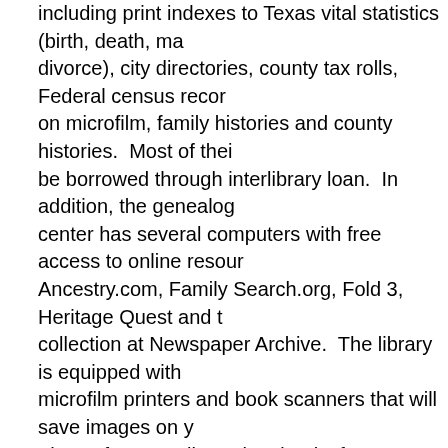including print indexes to Texas vital statistics (birth, death, marriage, divorce), city directories, county tax rolls, Federal census records on microfilm, family histories and county histories.  Most of their holdings can be borrowed through interlibrary loan.  In addition, the genealogy center has several computers with free access to online resources including Ancestry.com, Family Search.org, Fold 3, Heritage Quest and the full collection at Newspaper Archive.  The library is equipped with digital microfilm printers and book scanners that will save images on your device. The Reference Library has books from Texas and most U.S. states and foreign countries in two stack areas.
The TSLA website is the first point of entry for all users.  Select Genealogy from the quick links drop down menu in the upper right hand corner.  The Genealogy page summarizes a variety of state records with genealogical value including military service records, Confederate pensions, Republic of Texas muster rolls, 1867 voter registration, Confederate indigent family files, convicts record ledgers and conduct registers.
The search strategy for African Americans in the early Texas records is to search for free blacks or slave owners in the online indexes.  Many blacks served in the Texas State Police during Reconstruction.  State Police pay records have been digitized and are available in the Texas Adjutant General collection.